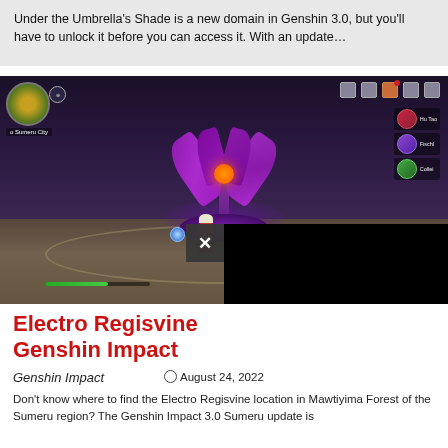Under the Umbrella's Shade is a new domain in Genshin 3.0, but you'll have to unlock it before you can access it. With an update…
[Figure (screenshot): Genshin Impact gameplay screenshot showing Electro Regisvine boss, a large purple plant creature, with character standing on stone tiles. HUD shows minimap, character portraits (Hu Tao, Fischl, Collei) and health bar.]
Electro Regisvine Genshin Impact
Genshin Impact
August 24, 2022
Don't know where to find the Electro Regisvine location in Mawtiyima Forest of the Sumeru region? The Genshin Impact 3.0 Sumeru update is